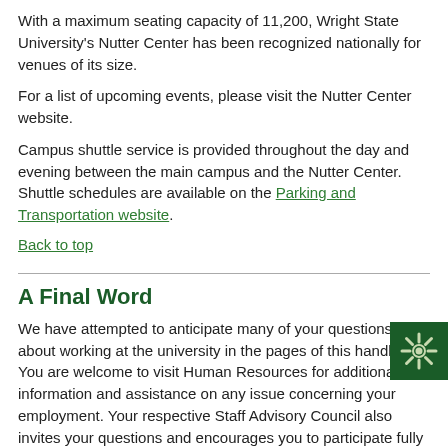With a maximum seating capacity of 11,200, Wright State University's Nutter Center has been recognized nationally for venues of its size.
For a list of upcoming events, please visit the Nutter Center website.
Campus shuttle service is provided throughout the day and evening between the main campus and the Nutter Center. Shuttle schedules are available on the Parking and Transportation website.
Back to top
A Final Word
We have attempted to anticipate many of your questions about working at the university in the pages of this handbook. You are welcome to visit Human Resources for additional information and assistance on any issue concerning your employment. Your respective Staff Advisory Council also invites your questions and encourages you to participate fully in university life. We look forward to the contributions you will make in helping Wright State University fulfill its mission.